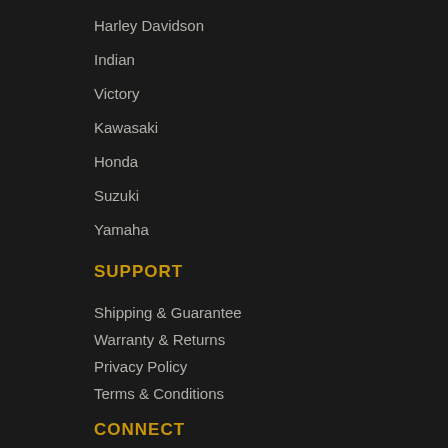Harley Davidson
Indian
Victory
Kawasaki
Honda
Suzuki
Yamaha
SUPPORT
Shipping & Guarantee
Warranty & Returns
Privacy Policy
Terms & Conditions
CONNECT
Contact